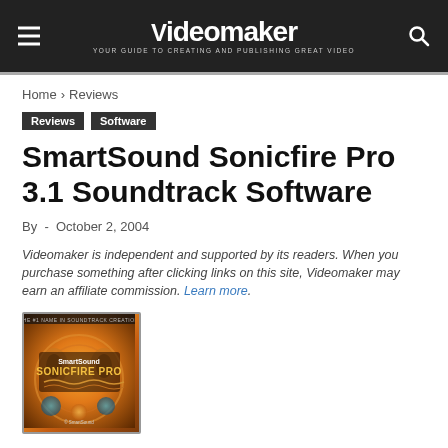Videomaker — YOUR GUIDE TO CREATING AND PUBLISHING GREAT VIDEO
Home › Reviews
Reviews  Software
SmartSound Sonicfire Pro 3.1 Soundtrack Software
By  -  October 2, 2004
Videomaker is independent and supported by its readers. When you purchase something after clicking links on this site, Videomaker may earn an affiliate commission. Learn more.
[Figure (photo): SmartSound Sonicfire Pro CD software box with orange and gold circular design artwork]